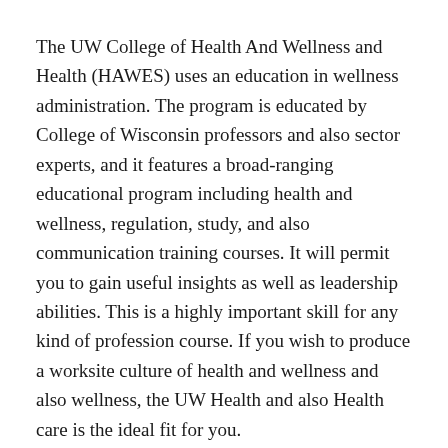The UW College of Health And Wellness and Health (HAWES) uses an education in wellness administration. The program is educated by College of Wisconsin professors and also sector experts, and it features a broad-ranging educational program including health and wellness, regulation, study, and also communication training courses. It will permit you to gain useful insights as well as leadership abilities. This is a highly important skill for any kind of profession course. If you wish to produce a worksite culture of health and wellness and also wellness, the UW Health and also Health care is the ideal fit for you.